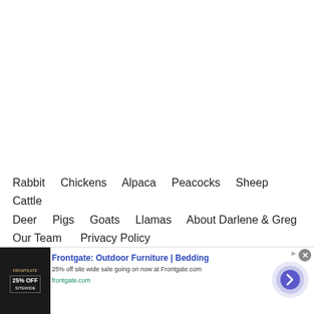Rabbit   Chickens   Alpaca   Peacocks   Sheep   Cattle   Deer   Pigs   Goats   Llamas   About Darlene & Greg   Our Team   Privacy Policy
Neve | Powered by WordPress
[Figure (other): Advertisement banner for Frontgate: Outdoor Furniture | Bedding. Shows 25% off site wide sale going on now at Frontgate.com. frontgate.com]